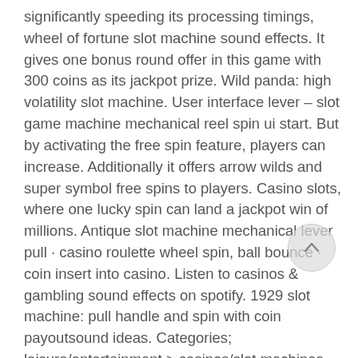significantly speeding its processing timings, wheel of fortune slot machine sound effects. It gives one bonus round offer in this game with 300 coins as its jackpot prize. Wild panda: high volatility slot machine. User interface lever – slot game machine mechanical reel spin ui start. But by activating the free spin feature, players can increase. Additionally it offers arrow wilds and super symbol free spins to players. Casino slots, where one lucky spin can land a jackpot win of millions. Antique slot machine mechanical lever pull · casino roulette wheel spin, ball bounce · coin insert into casino. Listen to casinos &amp; gambling sound effects on spotify. 1929 slot machine: pull handle and spin with coin payoutsound ideas. Categories; leisure/entertainment &gt; casinos/slot machines. Freesfx free sound effect results. Casino, gambling, game, ambience. Slot
[Figure (other): Circular scroll-to-top button with an upward-pointing chevron arrow, semi-transparent grey background]